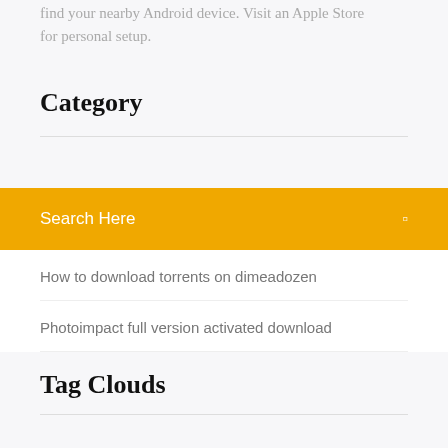find your nearby Android device. Visit an Apple Store for personal setup.
Category
Search Here
How to download torrents on dimeadozen
Photoimpact full version activated download
Tag Clouds